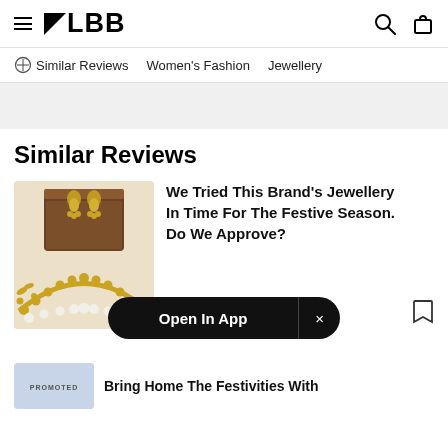LBB
Similar Reviews  Women's Fashion  Jewellery
Similar Reviews
[Figure (photo): Gold jewellery including a necklace and earrings displayed with a wooden box on a light background]
We Tried This Brand's Jewellery In Time For The Festive Season. Do We Approve?
Open In App  ×
PROMOTED
Bring Home The Festivities With